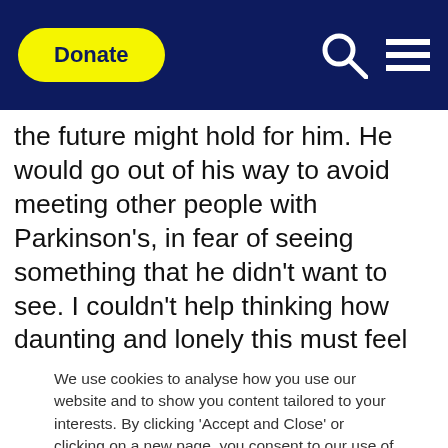Donate
the future might hold for him. He would go out of his way to avoid meeting other people with Parkinson's, in fear of seeing something that he didn't want to see. I couldn't help thinking how daunting and lonely this must feel and I found myself wanting to tell others in a similar situation, that those emotions were completely natural. Although a diagnosis of something like Parkinson's is often a huge shock, and certainly not something that you would ever wish for, it does not
We use cookies to analyse how you use our website and to show you content tailored to your interests. By clicking 'Accept and Close' or clicking on a new page, you consent to our use of cookies. You can edit your preferences by clicking on 'Edit'. View our cookies policy